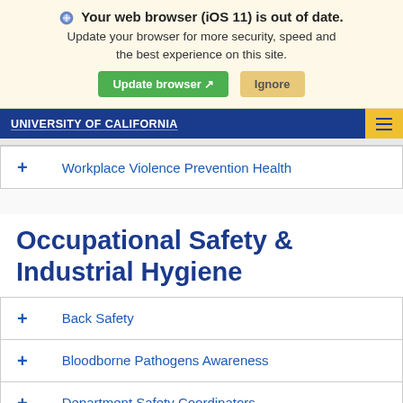Your web browser (iOS 11) is out of date. Update your browser for more security, speed and the best experience on this site.
Update browser [icon] Ignore
UNIVERSITY OF CALIFORNIA
+ Workplace Violence Prevention Health
Occupational Safety & Industrial Hygiene
+ Back Safety
+ Bloodborne Pathogens Awareness
+ Department Safety Coordinators